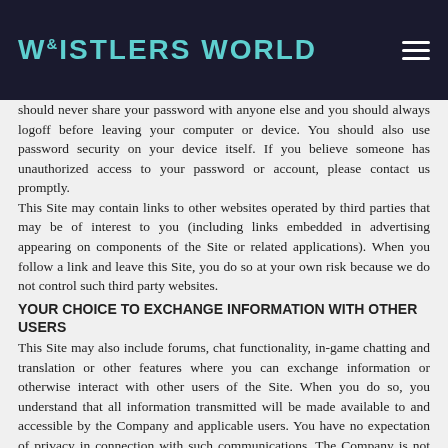Whistlers World
should never share your password with anyone else and you should always logoff before leaving your computer or device. You should also use password security on your device itself. If you believe someone has unauthorized access to your password or account, please contact us promptly.
This Site may contain links to other websites operated by third parties that may be of interest to you (including links embedded in advertising appearing on components of the Site or related applications). When you follow a link and leave this Site, you do so at your own risk because we do not control such third party websites.
YOUR CHOICE TO EXCHANGE INFORMATION WITH OTHER USERS
This Site may also include forums, chat functionality, in-game chatting and translation or other features where you can exchange information or otherwise interact with other users of the Site. When you do so, you understand that all information transmitted will be made available to and accessible by the Company and applicable users. You have no expectation of privacy in connection with such communications. The Company is not responsible for whether or